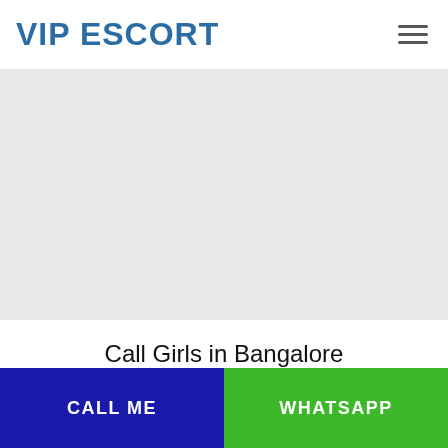VIP ESCORT
[Figure (photo): Grey placeholder image area below the header navigation]
Call Girls in Bangalore
CALL ME
WHATSAPP